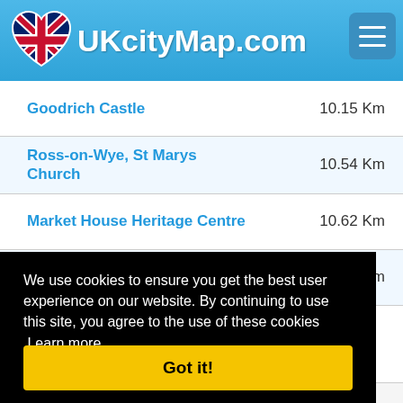UKcityMap.com
Goodrich Castle — 10.15 Km
Ross-on-Wye, St Marys Church — 10.54 Km
Market House Heritage Centre — 10.62 Km
Wilton Castle — 11.49 Km
We use cookies to ensure you get the best user experience on our website. By continuing to use this site, you agree to the use of these cookies Learn more
Got it!